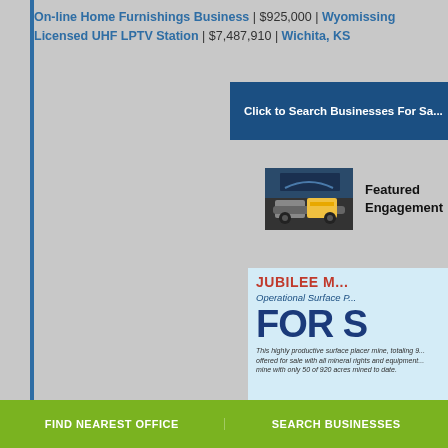On-line Home Furnishings Business | $925,000 | Wyomissing
Licensed UHF LPTV Station | $7,487,910 | Wichita, KS
[Figure (screenshot): Dark blue button with white text: Click to Search Businesses For Sa...]
[Figure (photo): Mining equipment / truck in a mine site, thumbnail image]
Featured Engagement
[Figure (infographic): Light blue advertisement box: JUBILEE M... / Operational Surface P... / FOR S... / This highly productive surface placer mine, totaling 9... offered for sale with all mineral rights and equipment... mine with only 50 of 920 acres mined to date.]
FIND NEAREST OFFICE | SEARCH BUSINESSES